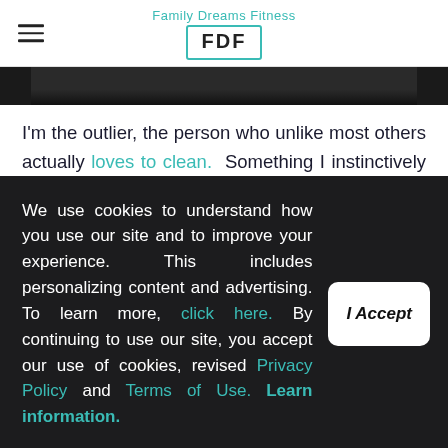Family Dreams Fitness FDF
[Figure (photo): Dark greyscale photo strip, partially visible at top of article]
I'm the outlier, the person who unlike most others actually loves to clean.  Something I instinctively realized at a pretty young age was the physical, and emotional benefits associated with a tidy home.
Having seen my share of homes, apartments, and
We use cookies to understand how you use our site and to improve your experience. This includes personalizing content and advertising. To learn more, click here. By continuing to use our site, you accept our use of cookies, revised Privacy Policy and Terms of Use. Learn information.